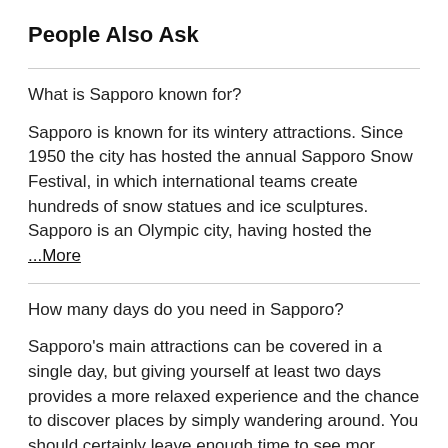People Also Ask
What is Sapporo known for?
Sapporo is known for its wintery attractions. Since 1950 the city has hosted the annual Sapporo Snow Festival, in which international teams create hundreds of snow statues and ice sculptures. Sapporo is an Olympic city, having hosted the …More
How many days do you need in Sapporo?
Sapporo's main attractions can be covered in a single day, but giving yourself at least two days provides a more relaxed experience and the chance to discover places by simply wandering around. You should certainly leave enough time to see mor …More